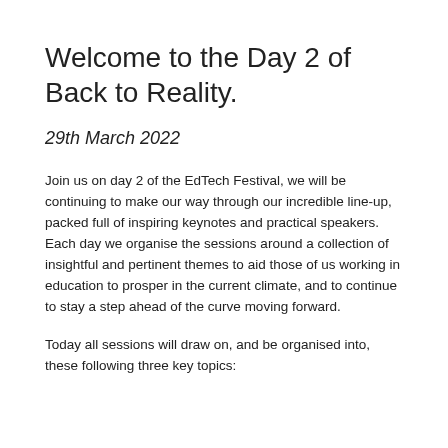Welcome to the Day 2 of Back to Reality.
29th March 2022
Join us on day 2 of the EdTech Festival, we will be continuing to make our way through our incredible line-up, packed full of inspiring keynotes and practical speakers. Each day we organise the sessions around a collection of insightful and pertinent themes to aid those of us working in education to prosper in the current climate, and to continue to stay a step ahead of the curve moving forward.
Today all sessions will draw on, and be organised into, these following three key topics: